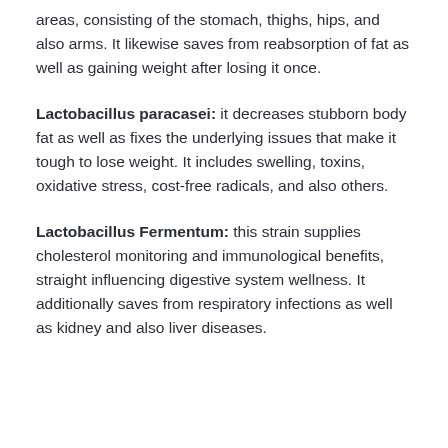areas, consisting of the stomach, thighs, hips, and also arms. It likewise saves from reabsorption of fat as well as gaining weight after losing it once.
Lactobacillus paracasei: it decreases stubborn body fat as well as fixes the underlying issues that make it tough to lose weight. It includes swelling, toxins, oxidative stress, cost-free radicals, and also others.
Lactobacillus Fermentum: this strain supplies cholesterol monitoring and immunological benefits, straight influencing digestive system wellness. It additionally saves from respiratory infections as well as kidney and also liver diseases.